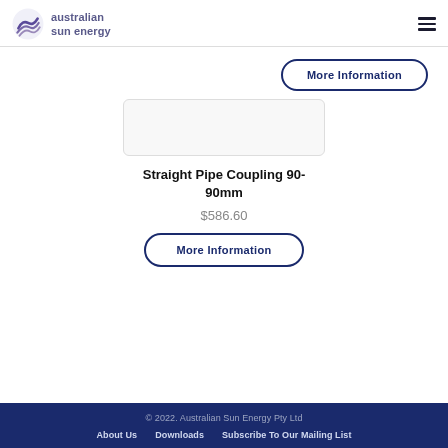australian sun energy
More Information
[Figure (other): Product image placeholder box for Straight Pipe Coupling 90-90mm]
Straight Pipe Coupling 90-90mm
$586.60
More Information
© 2022. Australian Sun Energy Pty Ltd
About Us   Downloads   Subscribe To Our Mailing List